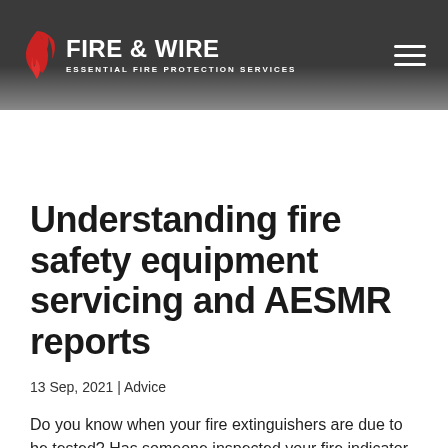FIRE & WIRE ESSENTIAL FIRE PROTECTION SERVICES
Understanding fire safety equipment servicing and AESMR reports
13 Sep, 2021 | Advice
Do you know when your fire extinguishers are due to be tested? Has someone inspected your fire indicator panel in the last 30 days? What about your fire and sprinkler